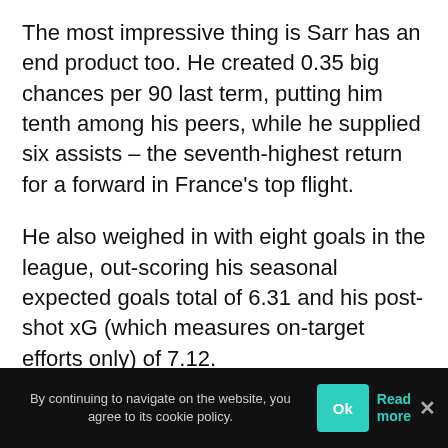The most impressive thing is Sarr has an end product too. He created 0.35 big chances per 90 last term, putting him tenth among his peers, while he supplied six assists – the seventh-highest return for a forward in France's top flight.
He also weighed in with eight goals in the league, out-scoring his seasonal expected goals total of 6.31 and his post-shot xG (which measures on-target efforts only) of 7.12.
That is almost certainly due to his penchant for the spectacular which saw him net a ferocious,
By continuing to navigate on the website, you agree to its cookie policy.